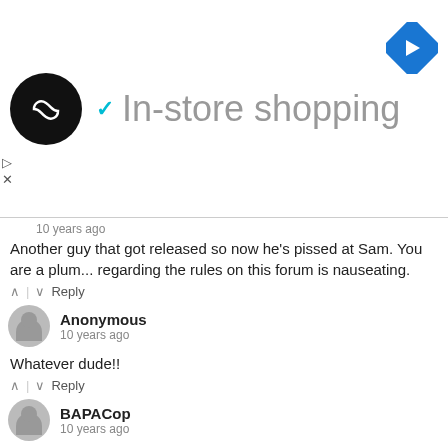[Figure (screenshot): Ad banner: circular black logo with infinity-like symbol, teal checkmark with 'In-store shopping' text in gray, blue diamond arrow icon top right, play and X controls bottom left]
10 years ago
Another guy that got released so now he's pissed at Sam. You are a plum... regarding the rules on this forum is nauseating.
^ | v Reply
Anonymous
10 years ago
Whatever dude!!
^ | v Reply
BAPACop
10 years ago
@DMay: No, your argument about a no-call does NOT make sense. The Fly is a fair fly ball which can be caught by an ordinary infielder with or... first second and third bases are occupied, before two are out, and when t... called." I do agree with you in one respect; if the infield fly rule is not ca... have complained. But whether or not the other team will complain about...